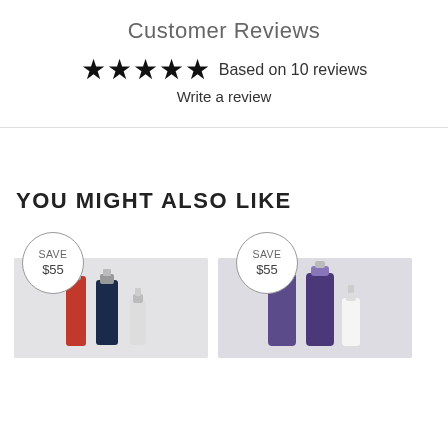Customer Reviews
★★★★★ Based on 10 reviews
Write a review
YOU MIGHT ALSO LIKE
[Figure (photo): Product bundle with SAVE $55 badge, left product card showing bottles on gray background]
[Figure (photo): Product bundle with SAVE $55 badge, right product card showing purple bottles on gray background]